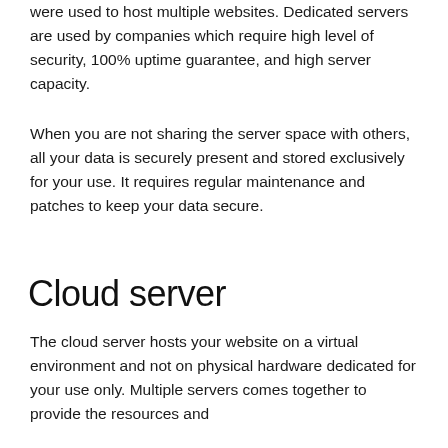were used to host multiple websites. Dedicated servers are used by companies which require high level of security, 100% uptime guarantee, and high server capacity.
When you are not sharing the server space with others, all your data is securely present and stored exclusively for your use. It requires regular maintenance and patches to keep your data secure.
Cloud server
The cloud server hosts your website on a virtual environment and not on physical hardware dedicated for your use only. Multiple servers comes together to provide the resources and